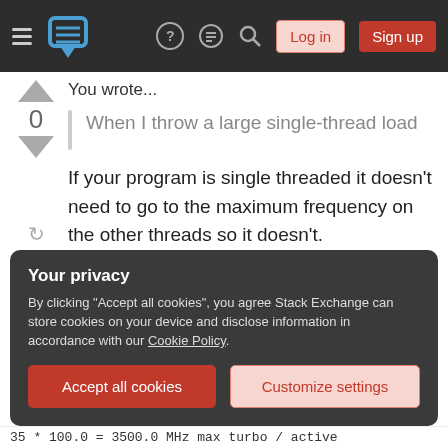Stack Exchange navigation bar with Log in and Sign up buttons
You wrote...
When I throw a large single-thread load
If your program is single threaded it doesn't need to go to the maximum frequency on the other threads so it doesn't.
Your link is for the Intel® Core™ i7-1065G7 Processor.
Your privacy
By clicking "Accept all cookies", you agree Stack Exchange can store cookies on your device and disclose information in accordance with our Cookie Policy.
Accept all cookies
Customize settings
35 * 100.0 = 3500.0 MHz max turbo / active